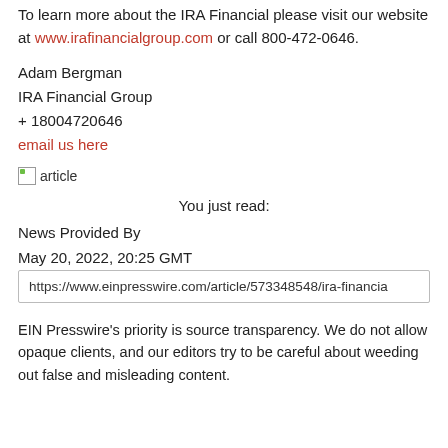To learn more about the IRA Financial please visit our website at www.irafinancialgroup.com or call 800-472-0646.
Adam Bergman
IRA Financial Group
+ 18004720646
email us here
[Figure (illustration): Broken image placeholder with green icon and text 'article']
You just read:
News Provided By
May 20, 2022, 20:25 GMT
https://www.einpresswire.com/article/573348548/ira-financia
EIN Presswire's priority is source transparency. We do not allow opaque clients, and our editors try to be careful about weeding out false and misleading content.